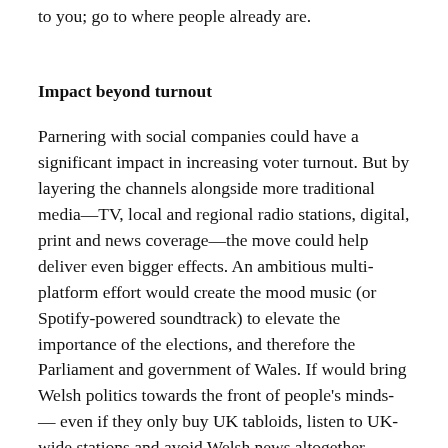to you; go to where people already are.
Impact beyond turnout
Parnering with social companies could have a significant impact in increasing voter turnout. But by layering the channels alongside more traditional media—TV, local and regional radio stations, digital, print and news coverage—the move could help deliver even bigger effects. An ambitious multi-platform effort would create the mood music (or Spotify-powered soundtrack) to elevate the importance of the elections, and therefore the Parliament and government of Wales. If would bring Welsh politics towards the front of people’s minds-—even if they only buy UK tabloids, listen to UK-wide stations and avoid Welsh news altogether.